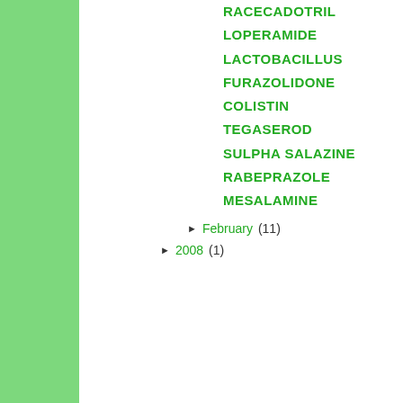RACECADOTRIL
LOPERAMIDE
LACTOBACILLUS
FURAZOLIDONE
COLISTIN
TEGASEROD
SULPHA SALAZINE
RABEPRAZOLE
MESALAMINE
► February (11)
► 2008 (1)
SIGN IN WITH
Newer Post
Subscribe to: Post